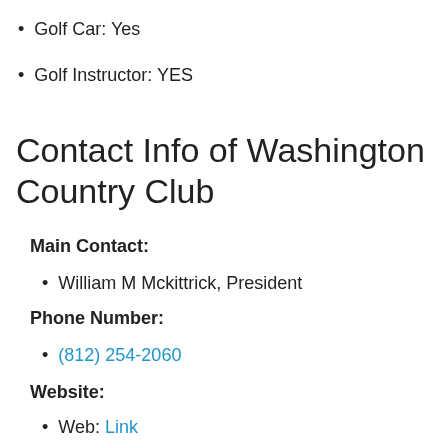Golf Car: Yes
Golf Instructor: YES
Contact Info of Washington Country Club
Main Contact:
William M Mckittrick, President
Phone Number:
(812) 254-2060
Website:
Web: Link